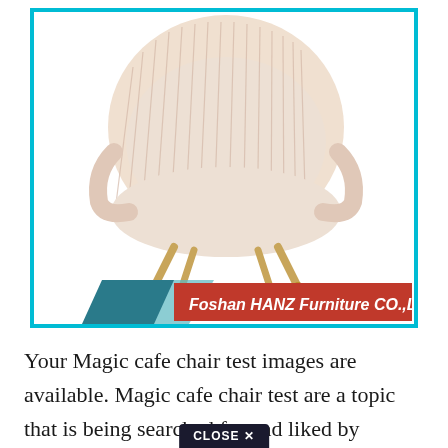[Figure (photo): A cream/blush pink ribbed fabric accent chair with gold metal legs, shown against a white background. The chair has a rounded barrel back with vertical pleating and gold tapered legs. A logo for Foshan HANZ Furniture CO.,LTD appears in the bottom of the image frame with a red banner and geometric arrow shapes in teal/blue.]
Your Magic cafe chair test images are available. Magic cafe chair test are a topic that is being searched for and liked by
CLOSE ✕